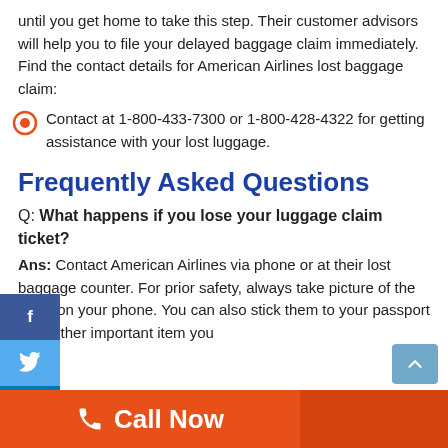until you get home to take this step. Their customer advisors will help you to file your delayed baggage claim immediately. Find the contact details for American Airlines lost baggage claim:
Contact at 1-800-433-7300 or 1-800-428-4322 for getting assistance with your lost luggage.
Frequently Asked Questions
Q: What happens if you lose your luggage claim ticket?
Ans: Contact American Airlines via phone or at their lost baggage counter. For prior safety, always take picture of the ticket on your phone. You can also stick them to your passport or another important item you
Call Now